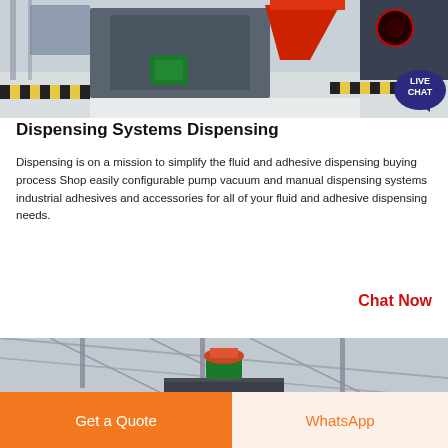[Figure (photo): Industrial dispensing / crushing machine equipment in a factory setting, with yellow-black caution markings on the floor and a red chute. A 'LIVE CHAT' speech bubble icon appears in the top-right corner.]
Dispensing Systems Dispensing
Dispensing is on a mission to simplify the fluid and adhesive dispensing buying process Shop easily configurable pump vacuum and manual dispensing systems industrial adhesives and accessories for all of your fluid and adhesive dispensing needs.
Chat Now
[Figure (photo): Industrial factory interior showing a large piece of equipment (cone crusher or similar) hanging from the ceiling structure, with green motor component on top and orange/red hopper.]
Get a Quote
WhatsApp